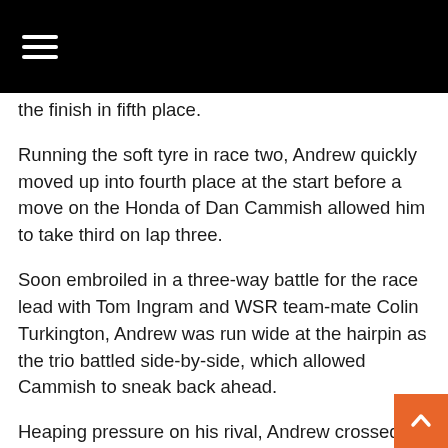≡ (navigation menu bar)
the finish in fifth place.
Running the soft tyre in race two, Andrew quickly moved up into fourth place at the start before a move on the Honda of Dan Cammish allowed him to take third on lap three.
Soon embroiled in a three-way battle for the race lead with Tom Ingram and WSR team-mate Colin Turkington, Andrew was run wide at the hairpin as the trio battled side-by-side, which allowed Cammish to sneak back ahead.
Heaping pressure on his rival, Andrew crossed the line in third place for his eighth podium finish